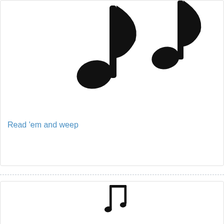[Figure (illustration): Two black music notes (eighth notes) partially visible at top of card, cropped at top edge]
Read 'em and weep
[Figure (illustration): Large black beamed eighth notes music symbol, centered in lower card section]
Singin' the…